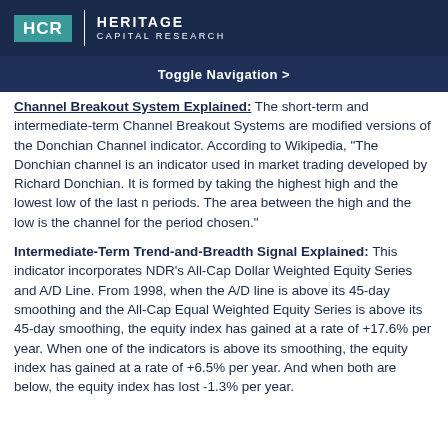HCR | HERITAGE CAPITAL RESEARCH
Toggle Navigation >
Channel Breakout System Explained: The short-term and intermediate-term Channel Breakout Systems are modified versions of the Donchian Channel indicator. According to Wikipedia, "The Donchian channel is an indicator used in market trading developed by Richard Donchian. It is formed by taking the highest high and the lowest low of the last n periods. The area between the high and the low is the channel for the period chosen."
Intermediate-Term Trend-and-Breadth Signal Explained: This indicator incorporates NDR's All-Cap Dollar Weighted Equity Series and A/D Line. From 1998, when the A/D line is above its 45-day smoothing and the All-Cap Equal Weighted Equity Series is above its 45-day smoothing, the equity index has gained at a rate of +17.6% per year. When one of the indicators is above its smoothing, the equity index has gained at a rate of +6.5% per year. And when both are below, the equity index has lost -1.3% per year.